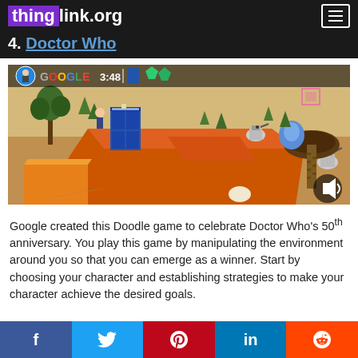thinglink.org
4. Doctor Who
[Figure (screenshot): Google Doodle Doctor Who game screenshot showing isometric desert landscape with TARDIS, Daleks, and timer showing 3:48]
Google created this Doodle game to celebrate Doctor Who's 50th anniversary. You play this game by manipulating the environment around you so that you can emerge as a winner. Start by choosing your character and establishing strategies to make your character achieve the desired goals.
f  Twitter  Pinterest  in  Reddit